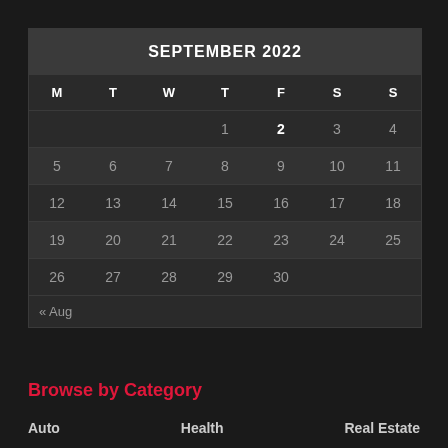| M | T | W | T | F | S | S |
| --- | --- | --- | --- | --- | --- | --- |
|  |  |  | 1 | 2 | 3 | 4 |
| 5 | 6 | 7 | 8 | 9 | 10 | 11 |
| 12 | 13 | 14 | 15 | 16 | 17 | 18 |
| 19 | 20 | 21 | 22 | 23 | 24 | 25 |
| 26 | 27 | 28 | 29 | 30 |  |  |
« Aug
Browse by Category
Auto    Health    Real Estate